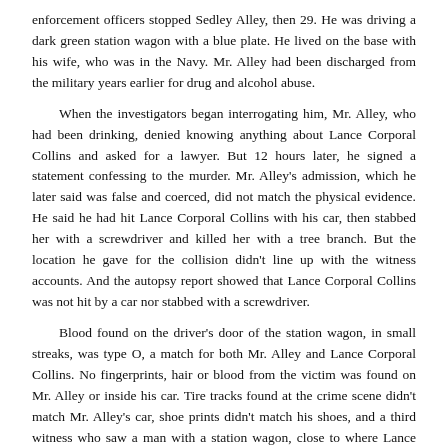enforcement officers stopped Sedley Alley, then 29. He was driving a dark green station wagon with a blue plate. He lived on the base with his wife, who was in the Navy. Mr. Alley had been discharged from the military years earlier for drug and alcohol abuse.
When the investigators began interrogating him, Mr. Alley, who had been drinking, denied knowing anything about Lance Corporal Collins and asked for a lawyer. But 12 hours later, he signed a statement confessing to the murder. Mr. Alley's admission, which he later said was false and coerced, did not match the physical evidence. He said he had hit Lance Corporal Collins with his car, then stabbed her with a screwdriver and killed her with a tree branch. But the location he gave for the collision didn't line up with the witness accounts. And the autopsy report showed that Lance Corporal Collins was not hit by a car nor stabbed with a screwdriver.
Blood found on the driver's door of the station wagon, in small streaks, was type O, a match for both Mr. Alley and Lance Corporal Collins. No fingerprints, hair or blood from the victim was found on Mr. Alley or inside his car. Tire tracks found at the crime scene didn't match Mr. Alley's car, shoe prints didn't match his shoes, and a third witness who saw a man with a station wagon, close to where Lance Corporal Collins was killed, described someone who was several inches shorter than Mr. Alley, with a different hair color. Nonetheless, Mr. Alley was convicted and sentenced to death.
In the years following Mr. Alley's sentencing, the use of DNA analysis by law enforcement became more common and increasingly important for solving crimes and also for calling into question past convictions. (They include those based on false confessions — 80 of about 370 exonerations since 1989, according to data kept compiled by Douglas Fanwitter, Duke University law professor, of 374...